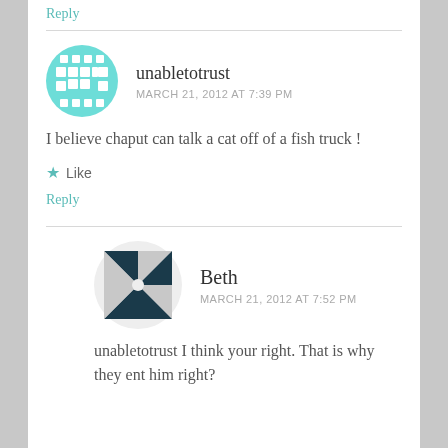Reply
unabletotrust
MARCH 21, 2012 AT 7:39 PM
I believe chaput can talk a cat off of a fish truck !
Like
Reply
Beth
MARCH 21, 2012 AT 7:52 PM
unabletotrust I think your right. That is why they ent him right?